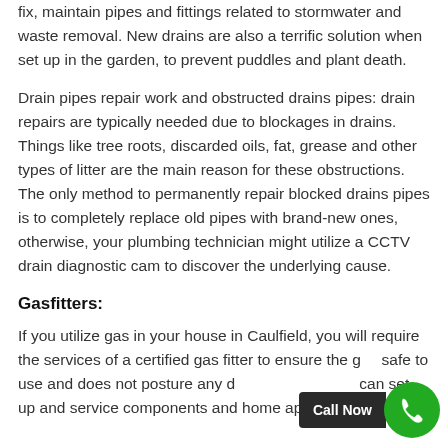fix, maintain pipes and fittings related to stormwater and waste removal. New drains are also a terrific solution when set up in the garden, to prevent puddles and plant death.
Drain pipes repair work and obstructed drains pipes: drain repairs are typically needed due to blockages in drains. Things like tree roots, discarded oils, fat, grease and other types of litter are the main reason for these obstructions. The only method to permanently repair blocked drains pipes is to completely replace old pipes with brand-new ones, otherwise, your plumbing technician might utilize a CCTV drain diagnostic cam to discover the underlying cause.
Gasfitters:
If you utilize gas in your house in Caulfield, you will require the services of a certified gas fitter to ensure the gas safe to use and does not posture any danger. A gas fitter can set up and service components and home appliances